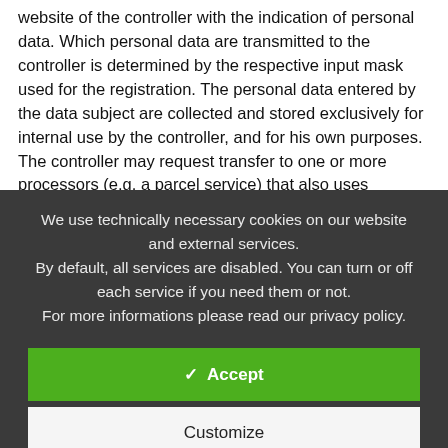website of the controller with the indication of personal data. Which personal data are transmitted to the controller is determined by the respective input mask used for the registration. The personal data entered by the data subject are collected and stored exclusively for internal use by the controller, and for his own purposes. The controller may request transfer to one or more processors (e.g. a parcel service) that also uses personal data for an internal purpose which is attributable to the controller.
We use technically necessary cookies on our website and external services. By default, all services are disabled. You can turn or off each service if you need them or not. For more informations please read our privacy policy.
✓  Accept
Customize